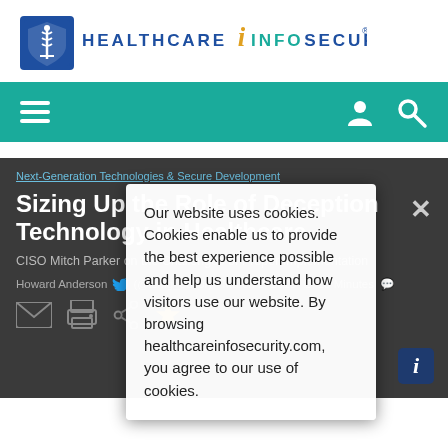[Figure (logo): HealthcareInfoSecurity logo with caduceus shield icon and stylized text]
[Figure (infographic): Teal navigation bar with hamburger menu, user icon, and search icon]
Next-Generation Technologies & Secure Development
Sizing Up the Role of Deception Technology in Healthcare
CISO Mitch Parker on the Challenges of Proper Implementation
Howard Anderson (@ismg_editor) • March 2, 2018 • 10 Minutes
Our website uses cookies. Cookies enable us to provide the best experience possible and help us understand how visitors use our website. By browsing healthcareinfosecurity.com, you agree to our use of cookies.